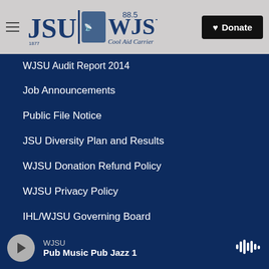[Figure (logo): WJSU 88.5 Cool Aid Carrier logo with JSU text and radio tower graphic]
WJSU Audit Report 2014
Job Announcements
Public File Notice
JSU Diversity Plan and Results
WJSU Donation Refund Policy
WJSU Privacy Policy
IHL/WJSU Governing Board
WJSU Audit Report 2015
WJSU AFR 2015
WJSU — Pub Music Pub Jazz 1